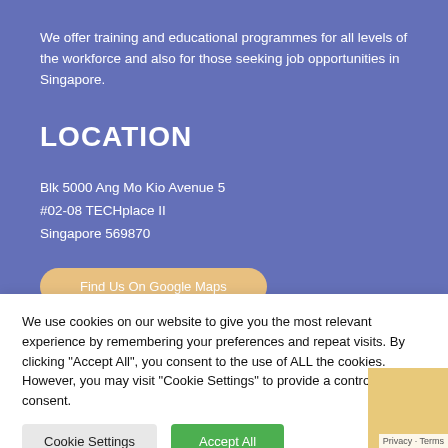We offer training and educational programmes for all levels of the workforce and also for those seeking job opportunities in Singapore.
LOCATION
Blk 5000 Ang Mo Kio Avenue 5
#02-08 TECHplace II
Singapore 569870
Find Us On Google Maps
We use cookies on our website to give you the most relevant experience by remembering your preferences and repeat visits. By clicking “Accept All”, you consent to the use of ALL the cookies. However, you may visit “Cookie Settings” to provide a controlled consent.
Cookie Settings
Accept All